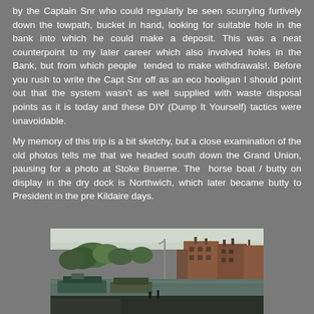by the Captain Snr who could regularly be seen scurrying furtively down the towpath, bucket in hand, looking for suitable hole in the bank into which he could make a deposit. This was a neat counterpoint to my later career which also involved holes in the Bank, but from which people tended to make withdrawals!. Before you rush to write the Capt Snr off as an eco hooligan I should point out that the system wasn't as well supplied with waste disposal points as it is today and these DIY (Dump It Yourself) tactics were unavoidable.

My memory of this trip is a bit sketchy, but a close examination of the old photos tells me that we headed south down the Grand Union, pausing for a photo at Stoke Bruerne. The horse boat / butty on display in the dry dock is Northwich, which later became butty to President in the pre Kildaire days.
[Figure (photo): An old photograph showing a canal scene at Stoke Bruerne, with boats on the water, trees in the background, and brick buildings (terraced houses) visible on the right side.]